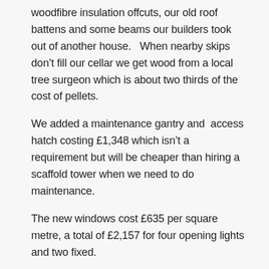woodfibre insulation offcuts, our old roof battens and some beams our builders took out of another house.   When nearby skips don't fill our cellar we get wood from a local tree surgeon which is about two thirds of the cost of pellets.
We added a maintenance gantry and  access hatch costing £1,348 which isn't a requirement but will be cheaper than hiring a scaffold tower when we need to do maintenance.
The new windows cost £635 per square metre, a total of £2,157 for four opening lights and two fixed.
The refurbished windows cost £170 per square metre, a total of £4,550 for twenty windows and secondary glazing the stained glass panels.  About half of this is labour and it's not terribly